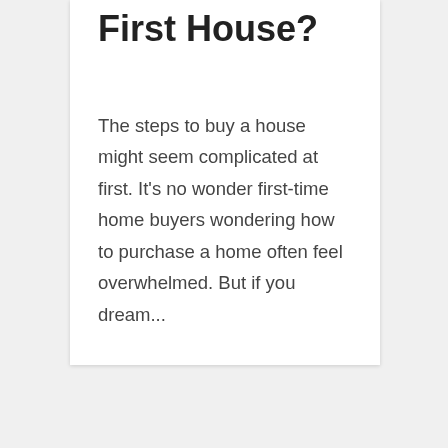First House?
The steps to buy a house might seem complicated at first. It's no wonder first-time home buyers wondering how to purchase a home often feel overwhelmed. But if you dream...